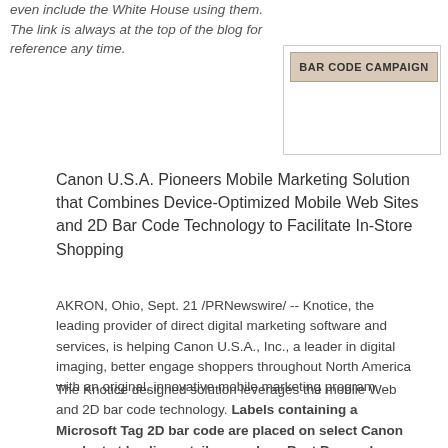even include the White House using them.  The link is always at the top of the blog for reference any time.
[Figure (other): BAR CODE CAMPAIGN button/banner with tan background and border]
Canon U.S.A. Pioneers Mobile Marketing Solution that Combines Device-Optimized Mobile Web Sites and 2D Bar Code Technology to Facilitate In-Store Shopping
AKRON, Ohio, Sept. 21 /PRNewswire/ -- Knotice, the leading provider of direct digital marketing software and services, is helping Canon U.S.A., Inc., a leader in digital imaging, better engage shoppers throughout North America with an original, innovative mobile marketing program.
The Knotice designed solution leverages the mobile Web and 2D bar code technology. Labels containing a Microsoft Tag 2D bar code are placed on select Canon product at leading retailers such as Best Buy and Staples. Consumers, or store associates, simply use a